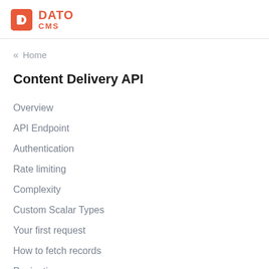DATO CMS
« Home
Content Delivery API
Overview
API Endpoint
Authentication
Rate limiting
Complexity
Custom Scalar Types
Your first request
How to fetch records
Pagination
Filtering records